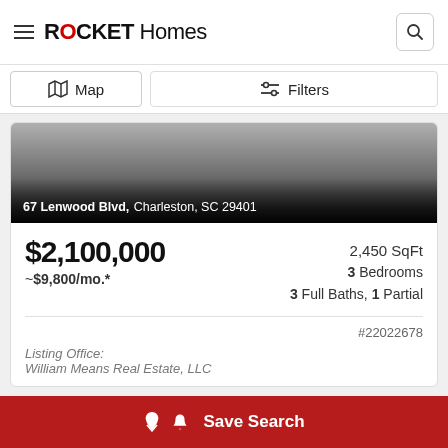ROCKET Homes
Map | Filters
[Figure (screenshot): Property listing image showing an exterior view of 67 Lenwood Blvd, Charleston, SC 29401 with a dark gradient overlay showing the address]
$2,100,000 | 2,450 SqFt | ~$9,800/mo.* | 3 Bedrooms | 3 Full Baths, 1 Partial | #22022678
Listing Office: William Means Real Estate, LLC
Save Search